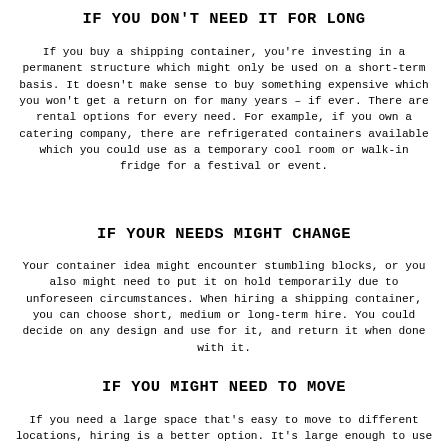IF YOU DON'T NEED IT FOR LONG
If you buy a shipping container, you're investing in a permanent structure which might only be used on a short-term basis. It doesn't make sense to buy something expensive which you won't get a return on for many years – if ever. There are rental options for every need. For example, if you own a catering company, there are refrigerated containers available which you could use as a temporary cool room or walk-in fridge for a festival or event.
IF YOUR NEEDS MIGHT CHANGE
Your container idea might encounter stumbling blocks, or you also might need to put it on hold temporarily due to unforeseen circumstances. When hiring a shipping container, you can choose short, medium or long-term hire. You could decide on any design and use for it, and return it when done with it.
IF YOU MIGHT NEED TO MOVE
If you need a large space that's easy to move to different locations, hiring is a better option. It's large enough to use as a mobile office or